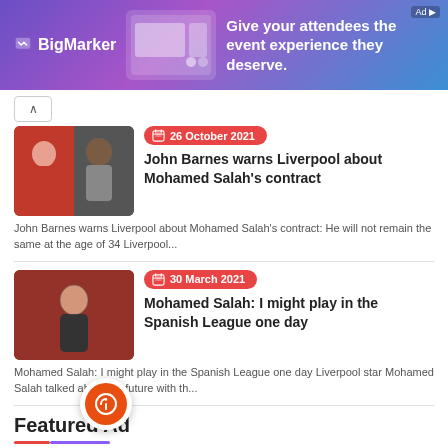[Figure (other): BigMarker advertisement banner with purple-blue gradient background, BigMarker logo on left, screenshot image in center, text 'Give your attendees the event experience they deserve.' on right]
26 October 2021
John Barnes warns Liverpool about Mohamed Salah's contract
John Barnes warns Liverpool about Mohamed Salah's contract: He will not remain the same at the age of 34 Liverpool...
30 March 2021
Mohamed Salah: I might play in the Spanish League one day
Mohamed Salah: I might play in the Spanish League one day Liverpool star Mohamed Salah talked about his future with th...
Featured Ad